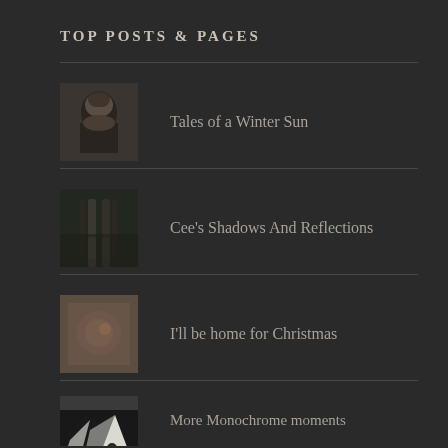TOP POSTS & PAGES
Tales of a Winter Sun
Cee's Shadows And Reflections
I'll be home for Christmas
More Monochrome moments
(partial item at bottom)